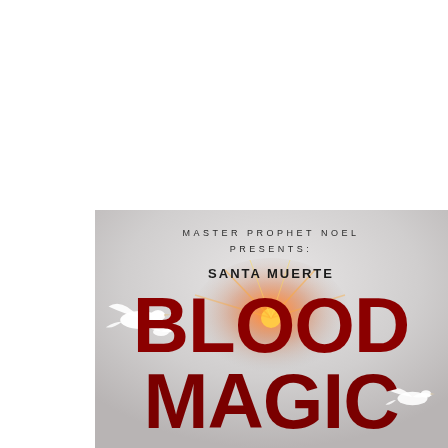[Figure (illustration): Book cover for 'Santa Muerte Blood Magic' by Master Prophet Noel. The lower portion shows a dramatic cover with a light grey/white cloudy sky background, two white doves, a central sunburst/light effect, and bold dark red text reading 'SANTA MUERTE' in smaller letters above the large words 'BLOOD' and 'MAGIC'. The top portion of the page is white background.]